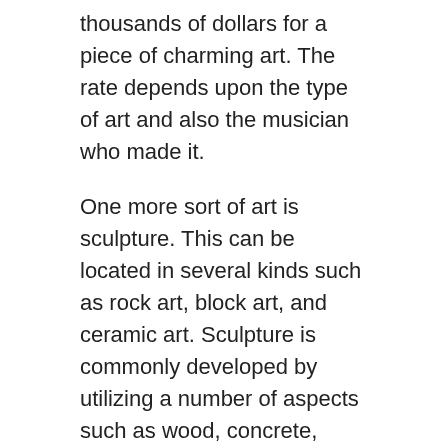thousands of dollars for a piece of charming art. The rate depends upon the type of art and also the musician who made it.
One more sort of art is sculpture. This can be located in several kinds such as rock art, block art, and ceramic art. Sculpture is commonly developed by utilizing a number of aspects such as wood, concrete, metals, rocks, and glass. One more form of sculpture is fine art which is defined as any type of work of aesthetic or executing art that is made for a certain purpose as well as generally has some definition. Visit this link
Music is an additional form of art. Songs narrates and produces feelings in listeners. This kind of art can be located in museums around the globe as well as lots of musicians earn a living developing songs. Film